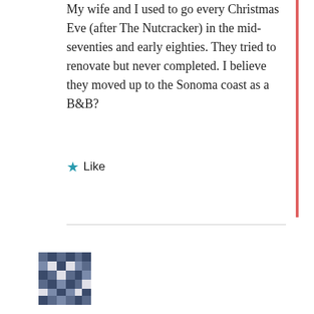My wife and I used to go every Christmas Eve (after The Nutcracker) in the mid-seventies and early eighties. They tried to renovate but never completed. I believe they moved up to the Sonoma coast as a B&B?
★ Like
[Figure (illustration): User avatar — small pixelated/identicon style square image in dark blue/grey tones]
Jo G · October 16, 2020